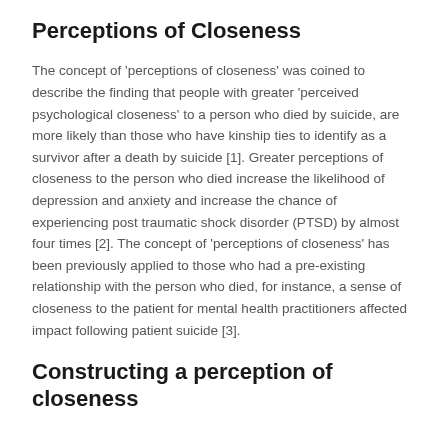Perceptions of Closeness
The concept of 'perceptions of closeness' was coined to describe the finding that people with greater 'perceived psychological closeness' to a person who died by suicide, are more likely than those who have kinship ties to identify as a survivor after a death by suicide [1]. Greater perceptions of closeness to the person who died increase the likelihood of depression and anxiety and increase the chance of experiencing post traumatic shock disorder (PTSD) by almost four times [2]. The concept of 'perceptions of closeness' has been previously applied to those who had a pre-existing relationship with the person who died, for instance, a sense of closeness to the patient for mental health practitioners affected impact following patient suicide [3].
Constructing a perception of closeness